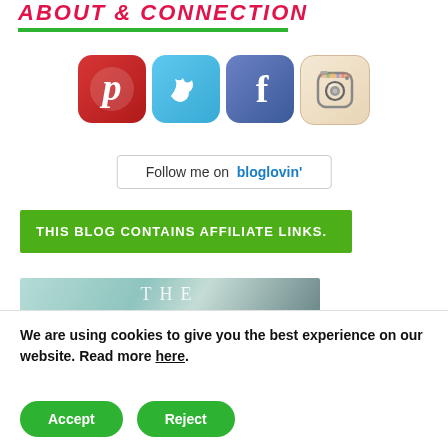About & Connection
[Figure (illustration): Row of four social media icons: Pinterest (red rounded square), Twitter (light blue rounded square), Facebook (blue rounded square), Instagram (tan/beige rounded square with camera)]
Follow me on bloglovin'
THIS BLOG CONTAINS AFFILIATE LINKS.
[Figure (photo): Partial view of a decorative image with text 'THE' visible, light teal/mint background with tropical leaf elements]
We are using cookies to give you the best experience on our website. Read more here.
Accept
Reject